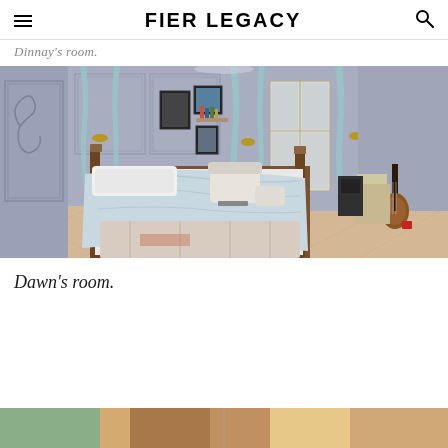FIER LEGACY
Dinnay's room.
[Figure (screenshot): A Sims 4 game screenshot showing a large, ornate bedroom with grey paneled walls, light blue curtains, a four-poster bed with a white/light blue comforter, a guitar on a stand, framed photos on the wall, a lounge chair with ottoman, and a patterned area rug on a herringbone wood floor.]
Dawn's room.
[Figure (screenshot): Partial view of another Sims 4 screenshot at the bottom of the page, showing colorful interior elements.]